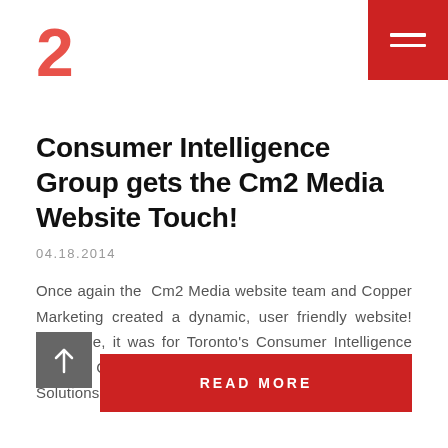2
Consumer Intelligence Group gets the Cm2 Media Website Touch!
04.18.2014
Once again the  Cm2 Media website team and Copper Marketing created a dynamic, user friendly website! This time, it was for Toronto's Consumer Intelligence Group. CIG is known for its Media Intelligence Solutions, most notably its featured product…
READ MORE